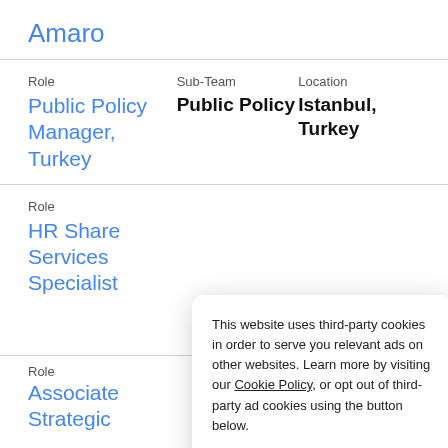Amaro
Role
Public Policy Manager, Turkey
Sub-Team
Public Policy
Location
Istanbul, Turkey
Role
HR Shared Services Specialist
Role
Associate Strategic
Location
Mexico City
This website uses third-party cookies in order to serve you relevant ads on other websites. Learn more by visiting our Cookie Policy, or opt out of third-party ad cookies using the button below. Opt out  Got it